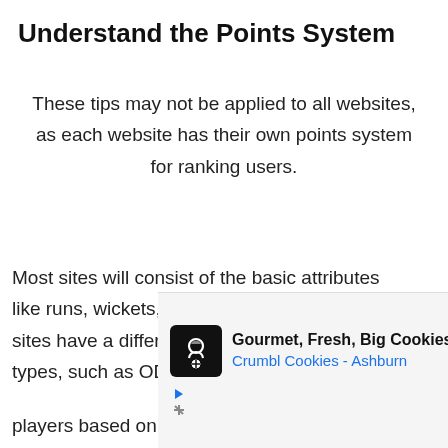Understand the Points System
These tips may not be applied to all websites, as each website has their own points system for ranking users.
Most sites will consist of the basic attributes like runs, wickets, catches and strike rate. Some sites have a different system based on match types, such as ODI, Test, and T20. Choose your players based on the match type if a site offers...
[Figure (other): Advertisement banner for Crumbl Cookies - Ashburn showing a chef logo icon, text 'Gourmet, Fresh, Big Cookies' and 'Crumbl Cookies - Ashburn', with a blue navigation arrow icon and ad control icons.]